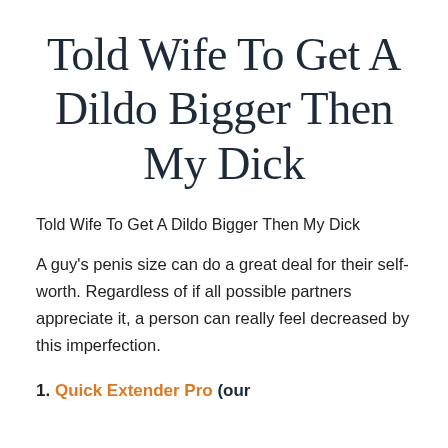Told Wife To Get A Dildo Bigger Then My Dick
Told Wife To Get A Dildo Bigger Then My Dick
A guy's penis size can do a great deal for their self-worth. Regardless of if all possible partners appreciate it, a person can really feel decreased by this imperfection.
1. Quick Extender Pro (our